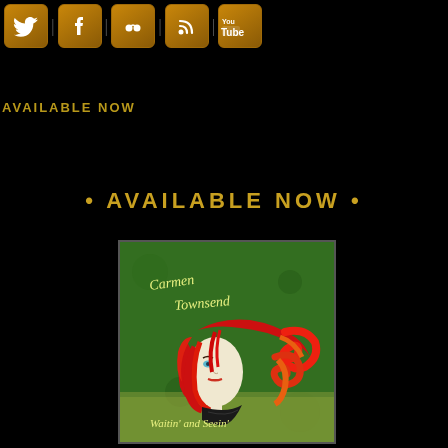[Figure (illustration): Social media icons row: Twitter, Facebook, MySpace, RSS feed, YouTube — golden/orange rounded square icons on black background]
AVAILABLE NOW
• AVAILABLE NOW •
[Figure (illustration): Album cover art for Carmen Townsend 'Waitin' and Seein'' — illustrated woman with flowing red hair on green background]